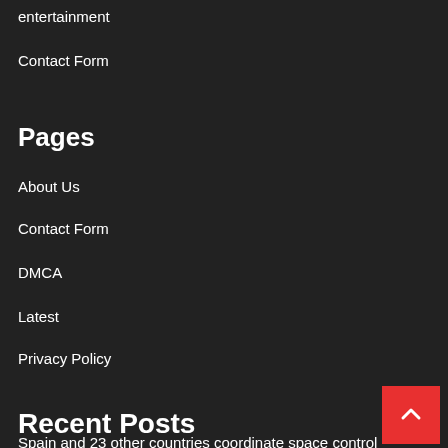entertainment
Contact Form
Pages
About Us
Contact Form
DMCA
Latest
Privacy Policy
Recent Posts
Spain and 23 other countries coordinate space control